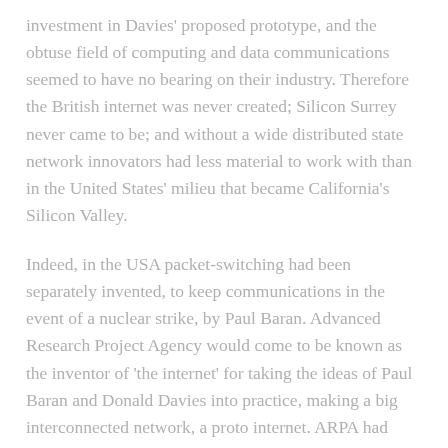investment in Davies' proposed prototype, and the obtuse field of computing and data communications seemed to have no bearing on their industry. Therefore the British internet was never created; Silicon Surrey never came to be; and without a wide distributed state network innovators had less material to work with than in the United States' milieu that became California's Silicon Valley.
Indeed, in the USA packet-switching had been separately invented, to keep communications in the event of a nuclear strike, by Paul Baran. Advanced Research Project Agency would come to be known as the inventor of 'the internet' for taking the ideas of Paul Baran and Donald Davies into practice, making a big interconnected network, a proto internet. ARPA had money to spare because of the discretion of then president Lyndon B Johnson who favoured blue skies research that had no commercial use, but might give